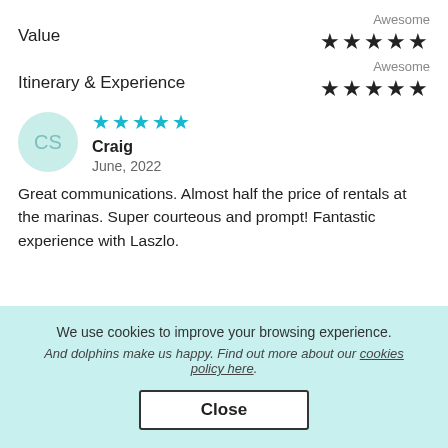Value
Awesome ★★★★★
Itinerary & Experience
Awesome ★★★★★
[Figure (other): Reviewer avatar circle with initials CS in teal/mint color]
★★★★★ Craig June, 2022
Great communications. Almost half the price of rentals at the marinas. Super courteous and prompt! Fantastic experience with Laszlo.
We use cookies to improve your browsing experience. And dolphins make us happy. Find out more about our cookies policy here.
Close